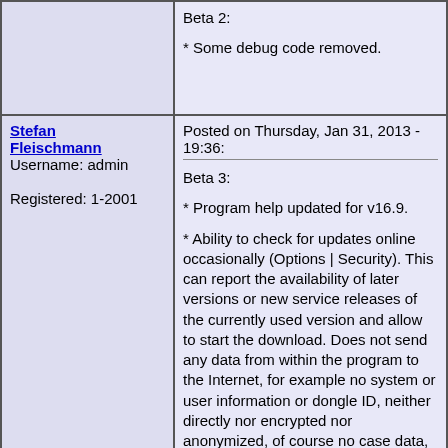|  | Beta 2:

* Some debug code removed. |
| Stefan Fleischmann
Username: admin
Registered: 1-2001 | Posted on Thursday, Jan 31, 2013 - 19:36:

Beta 3:

* Program help updated for v16.9.

* Ability to check for updates online occasionally (Options | Security). This can report the availability of later versions or new service releases of the currently used version and allow to start the download. Does not send any data from within the program to the Internet, for example no system or user information or dongle ID, neither directly nor encrypted nor anonymized, of course no case data, not even the currently used version number, nothing. This option is active by default only if the program determines that it is running on the examiner's own system (if it is executed from the C: drive or if it was installed using the setup program). The check does not occur when running the program for the first time, so that you definitely have a chance to turn off this option before anything happens. Given the fact that most systems on which X-Ways Investigator and X-Ways Forensics are run do not have an Internet connection, this feature has a limited effect only. |